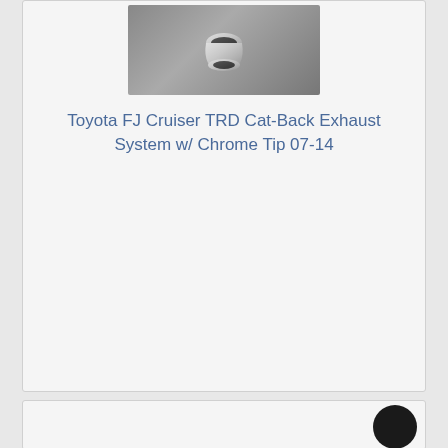[Figure (photo): Chrome exhaust tip on dark gray background]
Toyota FJ Cruiser TRD Cat-Back Exhaust System w/ Chrome Tip 07-14
[Figure (photo): Partially visible circular dark object at bottom right of second card]